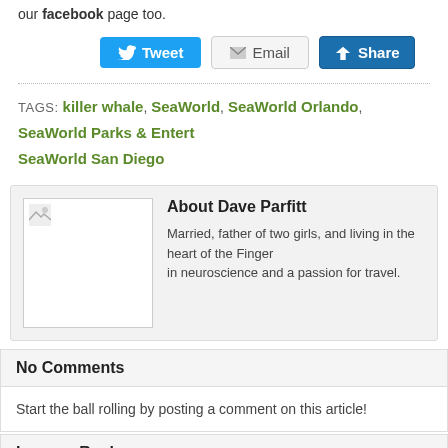our facebook page too.
[Figure (screenshot): Social sharing buttons: Tweet (blue), Email (gray), Share (blue)]
TAGS: killer whale, SeaWorld, SeaWorld Orlando, SeaWorld Parks & Entert..., SeaWorld San Diego
[Figure (screenshot): Author bio box for Dave Parfitt with placeholder image]
About Dave Parfitt
Married, father of two girls, and living in the heart of the Finger... in neuroscience and a passion for travel.
No Comments
Start the ball rolling by posting a comment on this article!
Leave a Reply
Your email address will not be published.